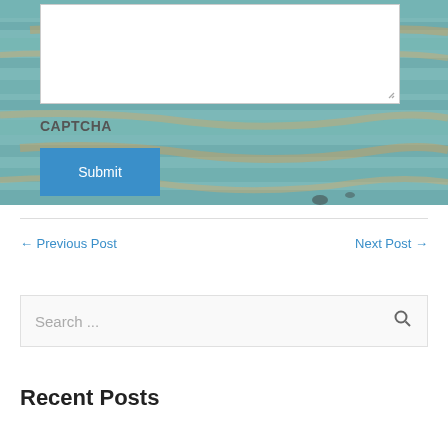[Figure (screenshot): Weathered wood plank background in teal and orange tones with a white textarea input box at top, a CAPTCHA label, and a blue Submit button]
CAPTCHA
Submit
← Previous Post
Next Post →
Search ...
Recent Posts